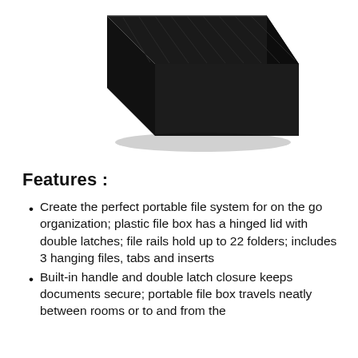[Figure (photo): A black plastic portable file box photographed from above-front angle, showing its textured lid and double latches. The box is dark/black in color.]
Features :
Create the perfect portable file system for on the go organization; plastic file box has a hinged lid with double latches; file rails hold up to 22 folders; includes 3 hanging files, tabs and inserts
Built-in handle and double latch closure keeps documents secure; portable file box travels neatly between rooms or to and from the